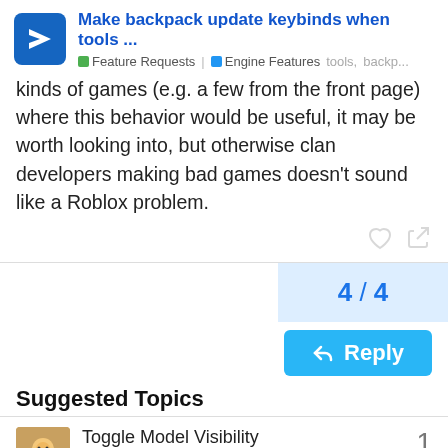Make backpack update keybinds when tools ... | Feature Requests | Engine Features  tools,  backp...
kinds of games (e.g. a few from the front page) where this behavior would be useful, it may be worth looking into, but otherwise clan developers making bad games doesn't sound like a Roblox problem.
4 / 4
Suggested Topics
Toggle Model Visibility
Engine Features
1
4d
Highlight should render on Transparent BasePart
Engine Features
1
3d